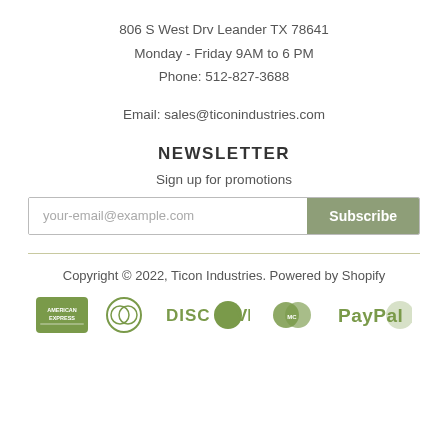806 S West Drv Leander TX 78641
Monday - Friday 9AM to 6 PM
Phone: 512-827-3688
Email: sales@ticonindustries.com
NEWSLETTER
Sign up for promotions
your-email@example.com  Subscribe
Copyright © 2022, Ticon Industries. Powered by Shopify
[Figure (logo): Payment method logos: American Express, Diners Club, Discover, MasterCard, PayPal — all rendered in olive/green tones]